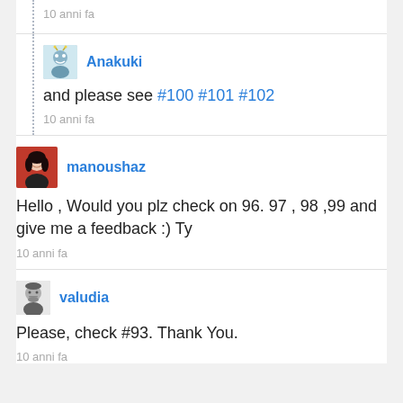10 anni fa
[Figure (photo): Small game character avatar icon for user Anakuki]
Anakuki
and please see #100 #101 #102
10 anni fa
[Figure (photo): Profile photo of manoushaz – woman with red background]
manoushaz
Hello , Would you plz check on 96. 97 , 98 ,99 and give me a feedback :) Ty
10 anni fa
[Figure (photo): Profile photo of valudia – man in black and white]
valudia
Please, check #93. Thank You.
10 anni fa